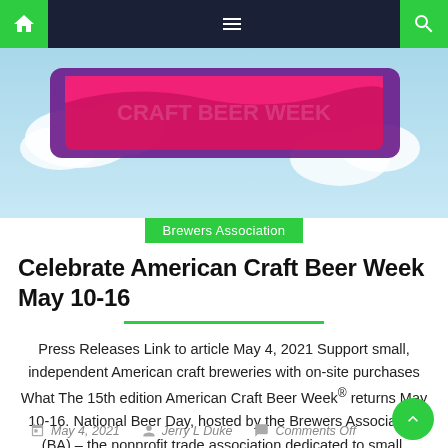Navigation bar with home, menu, and search icons
[Figure (illustration): Hero banner image with blue sky, clouds, and a colorful event banner with pink/purple design]
Brewers Association
Celebrate American Craft Beer Week May 10-16
Press Releases Link to article May 4, 2021 Support small, independent American craft breweries with on-site purchases What The 15th edition American Craft Beer Week® returns May 10-16. National Beer Day, hosted by the Brewers Association (BA) – the nonprofit trade association dedicated to small, independent American craft brewers – encourages beer lovers to visit [...]
May 4, 2021   Jerry L Duke   Comments Off